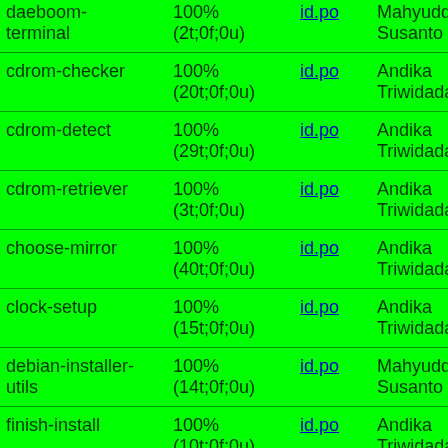| Package | Status | File | Maintainer |
| --- | --- | --- | --- |
| daeboom-terminal | 100% (2t;0f;0u) | id.po | Mahyuddin Susanto |
| cdrom-checker | 100% (20t;0f;0u) | id.po | Andika Triwidada |
| cdrom-detect | 100% (29t;0f;0u) | id.po | Andika Triwidada |
| cdrom-retriever | 100% (3t;0f;0u) | id.po | Andika Triwidada |
| choose-mirror | 100% (40t;0f;0u) | id.po | Andika Triwidada |
| clock-setup | 100% (15t;0f;0u) | id.po | Andika Triwidada |
| debian-installer-utils | 100% (14t;0f;0u) | id.po | Mahyuddin Susanto |
| finish-install | 100% (10t;0f;0u) | id.po | Andika Triwidada |
| grub-installer | 100% | id.po | Andika |